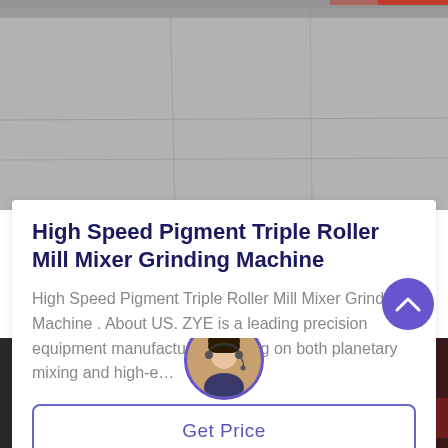[Figure (photo): Photograph of a grey concrete or metal surface, likely showing a triple roller mill machine or industrial equipment surface from above.]
High Speed Pigment Triple Roller Mill Mixer Grinding Machine
High Speed Pigment Triple Roller Mill Mixer Grinding Machine . About US. ZYE is a leading precision equipment manufacturer focusing on both planetary mixing and high-e…
Get Price
[Figure (photo): Footer bar showing a customer service representative (woman with headset) in a circular avatar, with 'Leave Message' on the left and 'Chat Online' on the right, dark background.]